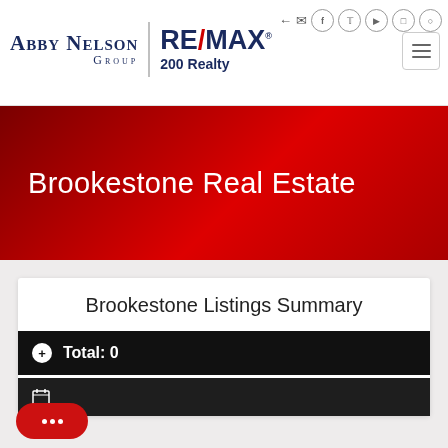[Figure (logo): Abby Nelson Group RE/MAX 200 Realty logo with navigation icons]
Brookestone Real Estate
Brookestone Listings Summary
Total: 0